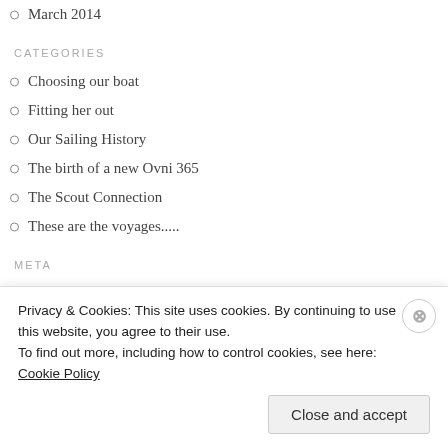March 2014
CATEGORIES
Choosing our boat
Fitting her out
Our Sailing History
The birth of a new Ovni 365
The Scout Connection
These are the voyages.....
META
Register
Privacy & Cookies: This site uses cookies. By continuing to use this website, you agree to their use.
To find out more, including how to control cookies, see here: Cookie Policy
Close and accept